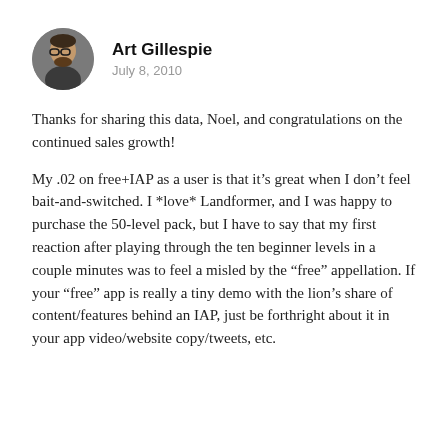[Figure (photo): Circular avatar photo of Art Gillespie, a man with glasses and a beard]
Art Gillespie
July 8, 2010
Thanks for sharing this data, Noel, and congratulations on the continued sales growth!
My .02 on free+IAP as a user is that it’s great when I don’t feel bait-and-switched. I *love* Landformer, and I was happy to purchase the 50-level pack, but I have to say that my first reaction after playing through the ten beginner levels in a couple minutes was to feel a misled by the “free” appellation. If your “free” app is really a tiny demo with the lion’s share of content/features behind an IAP, just be forthright about it in your app video/website copy/tweets, etc.